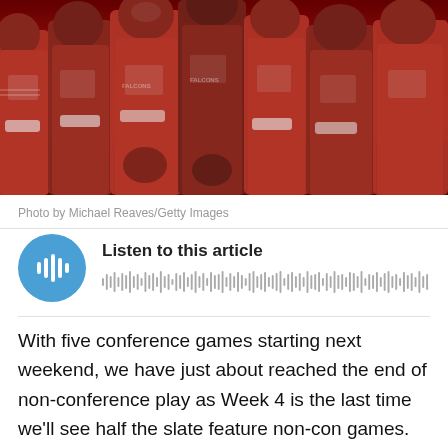[Figure (photo): Football players in red uniforms huddled together on a field]
Photo by Michael Reaves/Getty Images
[Figure (other): Audio player widget with play button and waveform. Title: Listen to this article]
With five conference games starting next weekend, we have just about reached the end of non-conference play as Week 4 is the last time we'll see half the slate feature non-con games. In Week 3 we saw the conference take home their first Power Five win of the season.